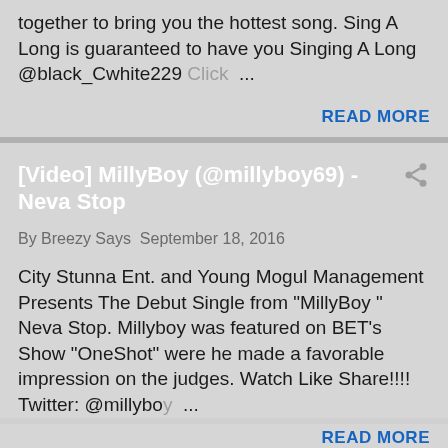together to bring you the hottest song. Sing A Long is guaranteed to have you Singing A Long @black_Cwhite229 Click ...
READ MORE
[Video] MillyBoy (@millyboy69) - Neva Stop
By Breezy Says September 18, 2016
City Stunna Ent. and Young Mogul Management Presents The Debut Single from "MillyBoy " Neva Stop. Millyboy was featured on BET's Show "OneShot" were he made a favorable impression on the judges. Watch Like Share!!!! Twitter: @millyboy ...
READ MORE